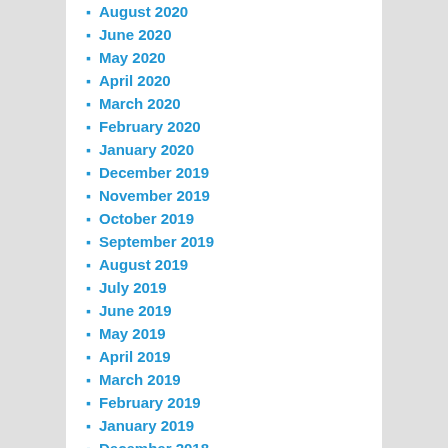August 2020
June 2020
May 2020
April 2020
March 2020
February 2020
January 2020
December 2019
November 2019
October 2019
September 2019
August 2019
July 2019
June 2019
May 2019
April 2019
March 2019
February 2019
January 2019
December 2018
November 2018
October 2018